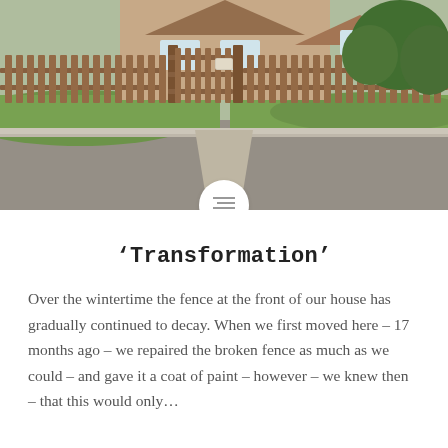[Figure (photo): Photograph of a wooden picket fence and gate at the front of a house, with green grass lawn, a path leading to the gate, and a brick house visible in the background. A road is in the foreground.]
‘Transformation’
Over the wintertime the fence at the front of our house has gradually continued to decay. When we first moved here – 17 months ago – we repaired the broken fence as much as we could – and gave it a coat of paint – however – we knew then – that this would only…